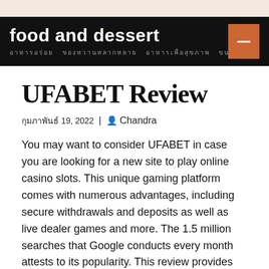food and dessert | อาหารอร่อย ของหวานหลากหลาย อาหารเพื่อสุขภาพ ขนมหวาน
UFABET Review
กุมภาพันธ์ 19, 2022 | Chandra
You may want to consider UFABET in case you are looking for a new site to play online casino slots. This unique gaming platform comes with numerous advantages, including secure withdrawals and deposits as well as live dealer games and more. The 1.5 million searches that Google conducts every month attests to its popularity. This review provides an overview of the website's major capabilities. It is also possible to make deposits and